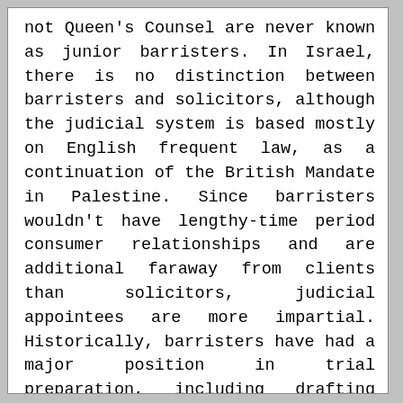not Queen's Counsel are never known as junior barristers. In Israel, there is no distinction between barristers and solicitors, although the judicial system is based mostly on English frequent law, as a continuation of the British Mandate in Palestine. Since barristers wouldn't have lengthy-time period consumer relationships and are additional faraway from clients than solicitors, judicial appointees are more impartial. Historically, barristers have had a major position in trial preparation, including drafting pleadings and reviewing evidence. In other areas, it's comparatively frequent for the barrister to obtain the transient from the instructing solicitor to symbolize a shopper at trial only a day or two earlier than the continuing.

For junior barristers, this rule meant that they may not turn down legally aided instances and